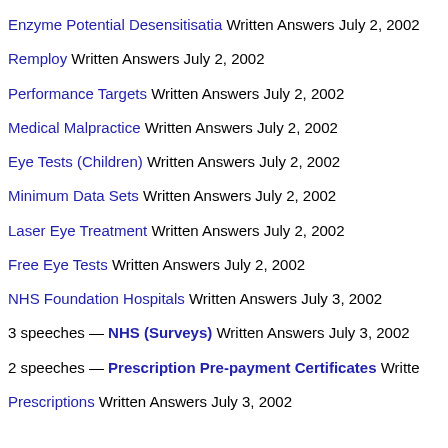Enzyme Potential Desensitisatia Written Answers July 2, 2002
Remploy Written Answers July 2, 2002
Performance Targets Written Answers July 2, 2002
Medical Malpractice Written Answers July 2, 2002
Eye Tests (Children) Written Answers July 2, 2002
Minimum Data Sets Written Answers July 2, 2002
Laser Eye Treatment Written Answers July 2, 2002
Free Eye Tests Written Answers July 2, 2002
NHS Foundation Hospitals Written Answers July 3, 2002
3 speeches — NHS (Surveys) Written Answers July 3, 2002
2 speeches — Prescription Pre-payment Certificates Written Answers
Prescriptions Written Answers July 3, 2002